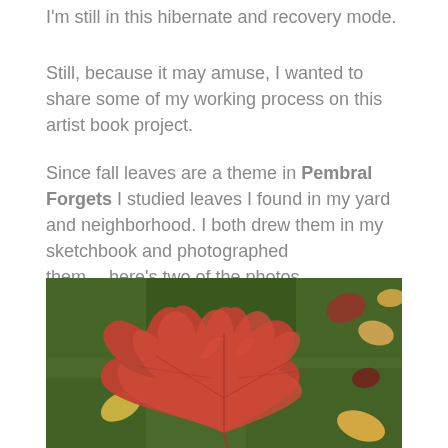I'm still in this hibernate and recovery mode.
Still, because it may amuse, I wanted to share some of my working process on this artist book project.
Since fall leaves are a theme in Pembral Forgets I studied leaves I found in my yard and neighborhood. I both drew them in my sketchbook and photographed them….here's two of the photos
[Figure (photo): A large red maple leaf lying on green grass, with other smaller leaves scattered around in the background.]